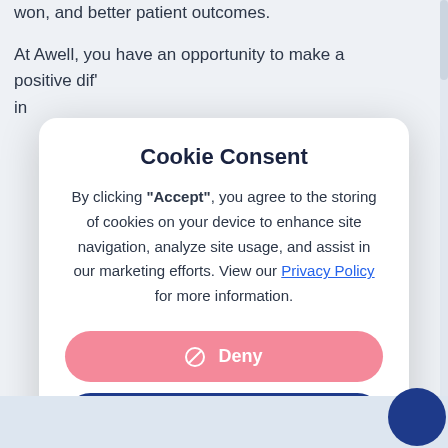won, and better patient outcomes.
At Awell, you have an opportunity to make a positive dif'
in
Cookie Consent
By clicking "Accept", you agree to the storing of cookies on your device to enhance site navigation, analyze site usage, and assist in our marketing efforts. View our Privacy Policy for more information.
Deny
Accept